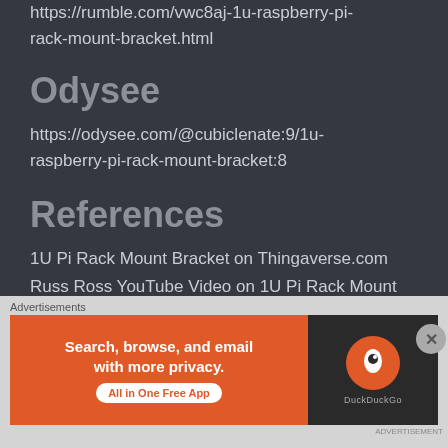https://rumble.com/vwc8aj-1u-raspberry-pi-rack-mount-bracket.html
Odysee
https://odysee.com/@cubiclenate:9/1u-raspberry-pi-rack-mount-bracket:8
References
1U Pi Rack Mount Bracket on Thingaverse.com
Russ Ross YouTube Video on 1U Pi Rack Mount Bracket
[Figure (screenshot): DuckDuckGo advertisement banner with orange background, text 'Search, browse, and email with more privacy. All in One Free App', and DuckDuckGo logo on dark right panel]